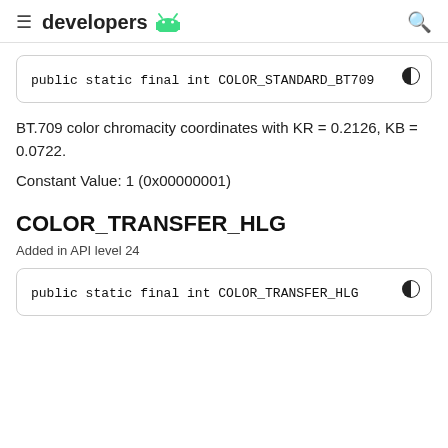developers
public static final int COLOR_STANDARD_BT709
BT.709 color chromacity coordinates with KR = 0.2126, KB = 0.0722.
Constant Value: 1 (0x00000001)
COLOR_TRANSFER_HLG
Added in API level 24
public static final int COLOR_TRANSFER_HLG